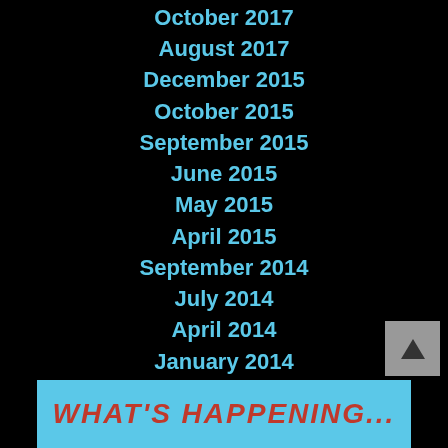October 2017
August 2017
December 2015
October 2015
September 2015
June 2015
May 2015
April 2015
September 2014
July 2014
April 2014
January 2014
December 2013
November 2013
October 2013
September 2013
July 2013
[Figure (illustration): Blue banner at bottom with red bold italic text reading WHAT'S HAPPENING...]